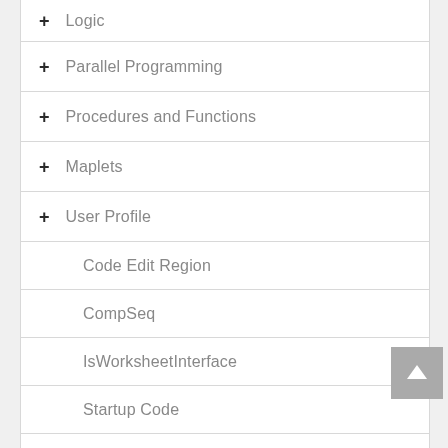+ Logic
+ Parallel Programming
+ Procedures and Functions
+ Maplets
+ User Profile
Code Edit Region
CompSeq
IsWorksheetInterface
Startup Code
+ Graphics
+ Science and Engineering